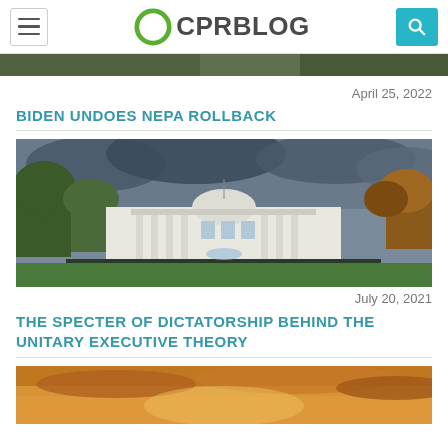CPRBLOG
[Figure (photo): Partial hero image strip at top, dark green/nature tones]
April 25, 2022
BIDEN UNDOES NEPA ROLLBACK
[Figure (photo): White House building with cloudy sky and surrounding trees]
July 20, 2021
THE SPECTER OF DICTATORSHIP BEHIND THE UNITARY EXECUTIVE THEORY
[Figure (photo): Sky with clouds at sunset, warm golden tones]